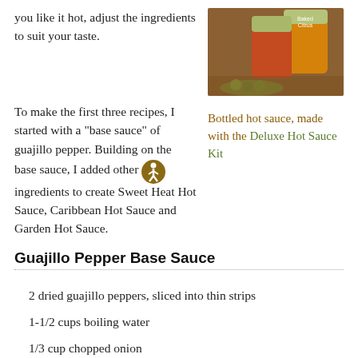you like it hot, adjust the ingredients to suit your taste.
[Figure (photo): Photo of bottled hot sauce jars with labels on a wooden surface]
Bottled hot sauce, made with the Deluxe Hot Sauce Kit
To make the first three recipes, I started with a "base sauce" of guajillo pepper. Building on the base sauce, I added other ingredients to create Sweet Heat Hot Sauce, Caribbean Hot Sauce and Garden Hot Sauce.
Guajillo Pepper Base Sauce
2 dried guajillo peppers, sliced into thin strips
1-1/2 cups boiling water
1/3 cup chopped onion